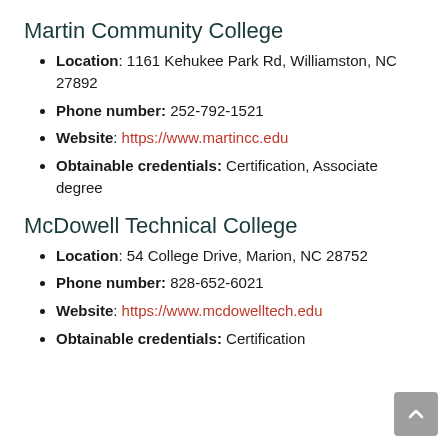Martin Community College
Location: 1161 Kehukee Park Rd, Williamston, NC 27892
Phone number: 252-792-1521
Website: https://www.martincc.edu
Obtainable credentials: Certification, Associate degree
McDowell Technical College
Location: 54 College Drive, Marion, NC 28752
Phone number: 828-652-6021
Website: https://www.mcdowelltech.edu
Obtainable credentials: Certification